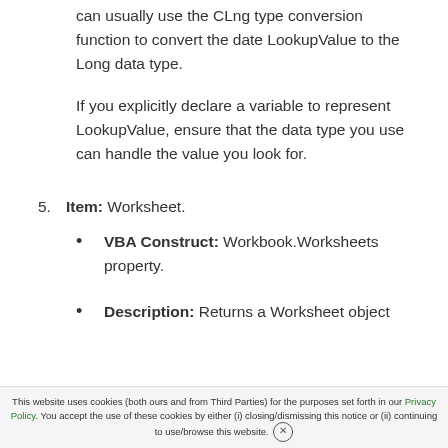can usually use the CLng type conversion function to convert the date LookupValue to the Long data type.
If you explicitly declare a variable to represent LookupValue, ensure that the data type you use can handle the value you look for.
5. Item: Worksheet.
VBA Construct: Workbook.Worksheets property.
Description: Returns a Worksheet object
This website uses cookies (both ours and from Third Parties) for the purposes set forth in our Privacy Policy. You accept the use of these cookies by either (i) closing/dismissing this notice or (ii) continuing to use/browse this website.